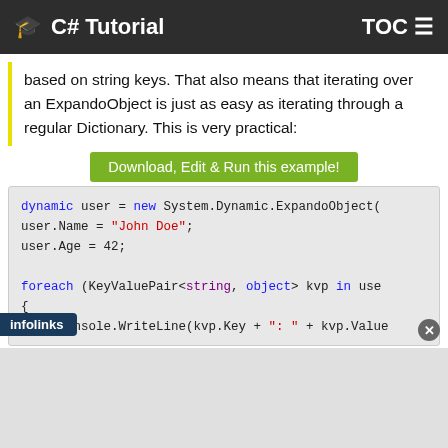C# Tutorial   TOC
based on string keys. That also means that iterating over an ExpandoObject is just as easy as iterating through a regular Dictionary. This is very practical:
Download, Edit & Run this example!
[Figure (screenshot): C# code block showing: dynamic user = new System.Dynamic.ExpandoObject(); user.Name = "John Doe"; user.Age = 42; foreach (KeyValuePair<string, object> kvp in use { Console.WriteLine(kvp.Key + ": " + kvp.Value]